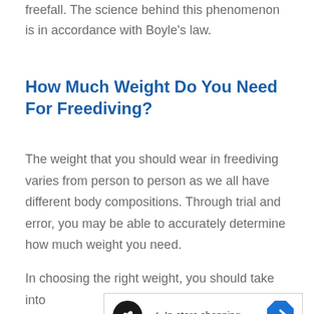freefall. The science behind this phenomenon is in accordance with Boyle's law.
How Much Weight Do You Need For Freediving?
The weight that you should wear in freediving varies from person to person as we all have different body compositions. Through trial and error, you may be able to accurately determine how much weight you need.
In choosing the right weight, you should take into
[Figure (screenshot): Advertisement banner showing a circular black logo with infinity-like symbol, a green checkmark with 'In-store shopping' text, a blue diamond arrow icon, and media control buttons (play and close).]